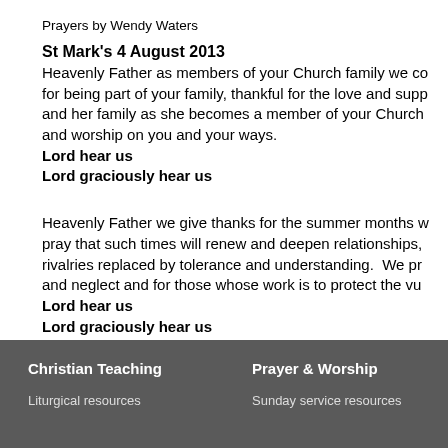Prayers by Wendy Waters
St Mark's 4 August 2013
Heavenly Father as members of your Church family we co... for being part of your family, thankful for the love and supp... and her family as she becomes a member of your Church... and worship on you and your ways.
Lord hear us
Lord graciously hear us
Heavenly Father we give thanks for the summer months w... pray that such times will renew and deepen relationships,... rivalries replaced by tolerance and understanding. We pr... and neglect and for those whose work is to protect the vu...
Lord hear us
Lord graciously hear us
Christian Teaching | Prayer & Worship | Liturgical resources | Sunday service resources